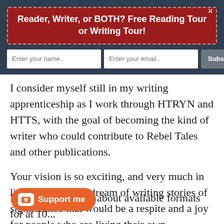Reader, Writer, or BOTH? Free Reading Tour or Writing Tour!
I consider myself still in my writing apprenticeship as I work through HTRYN and HTTS, with the goal of becoming the kind of writer who could contribute to Rebel Tales and other publications.
Your vision is so exciting, and very much in line with my own dream of writing stories of significance that would be a respite and a joy for people who are living their own significant stories.
In the conversation about available formats at 10...